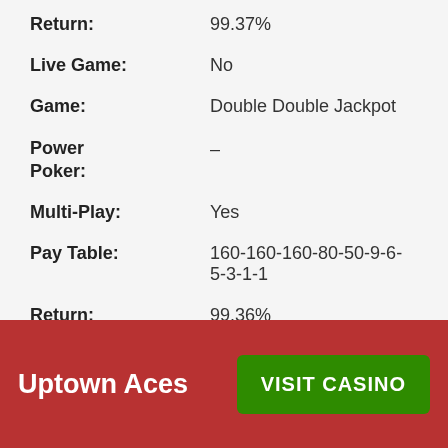Return: 99.37%
Live Game: No
Game: Double Double Jackpot
Power Poker: –
Multi-Play: Yes
Pay Table: 160-160-160-80-50-9-6-5-3-1-1
Return: 99.36%
Live Game: No
Game: Sevens Wild (multi-play)
Power Poker: –
Multi-Play: Yes
Pay Table: ...
Return: ...
Uptown Aces
VISIT CASINO